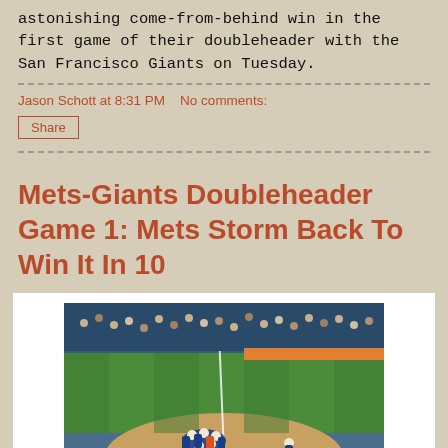astonishing come-from-behind win in the first game of their doubleheader with the San Francisco Giants on Tuesday.
Jason Schott at 8:31 PM   No comments:
Share
Mets-Giants Doubleheader Game 1: Mets Storm Back To Win It In 10
[Figure (photo): Aerial view of Mets players mobbing Francisco Lindor on the baseball field after his walk-off hit, with crowd in the background.]
The Mets mob Francisco Lindor after his hit won the opening game of the doubleheader. Photo by Jason Schott.